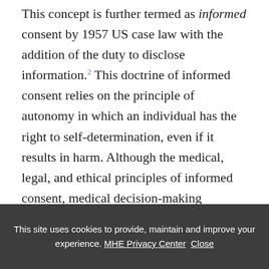This concept is further termed as informed consent by 1957 US case law with the addition of the duty to disclose information.² This doctrine of informed consent relies on the principle of autonomy in which an individual has the right to self-determination, even if it results in harm. Although the medical, legal, and ethical principles of informed consent, medical decision-making capacity, and refusal of care have their foundation in medical care provided by physicians, they apply as well, and often with
This site uses cookies to provide, maintain and improve your experience. MHE Privacy Center Close